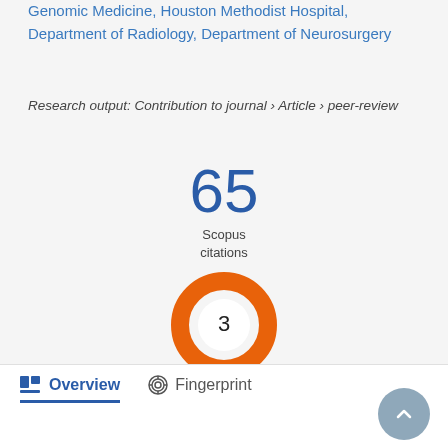Genomic Medicine, Houston Methodist Hospital, Department of Radiology, Department of Neurosurgery
Research output: Contribution to journal › Article › peer-review
[Figure (infographic): Large blue number 65 with label 'Scopus citations' below it]
[Figure (donut-chart): Orange donut chart with number 3 in the center]
Overview   Fingerprint